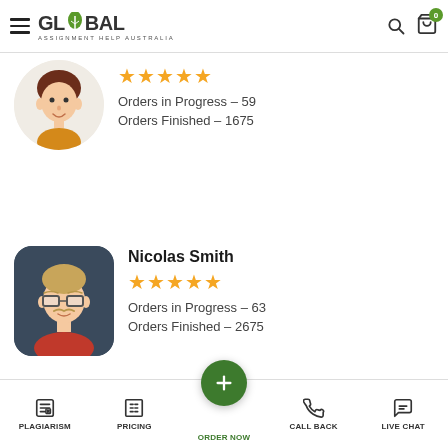Global Assignment Help Australia
[Figure (illustration): Expert 1 avatar - cartoon male with brown hair, yellow shirt, circular frame]
Orders in Progress – 59
Orders Finished – 1675
Hire Now
Nicolas Smith
[Figure (illustration): Nicolas Smith avatar - cartoon male with glasses, blonde hair, red shirt, dark rounded square frame]
Orders in Progress – 63
Orders Finished – 2675
Hire Now
[Figure (illustration): Third expert partial avatar - gray circular frame, partial name visible]
Par...rl (partial name visible)
PLAGIARISM | PRICING | ORDER NOW | CALL BACK | LIVE CHAT